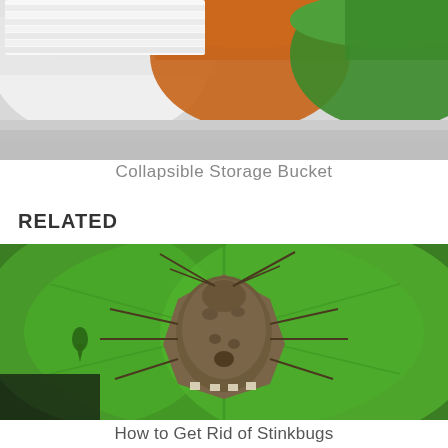[Figure (photo): Photo of collapsible storage buckets with white, orange, and green colored rims viewed from above]
Collapsible Storage Bucket
RELATED
[Figure (photo): Close-up photo of a stinkbug (brown marmorated stink bug) sitting on a bright green leaf]
How to Get Rid of Stinkbugs